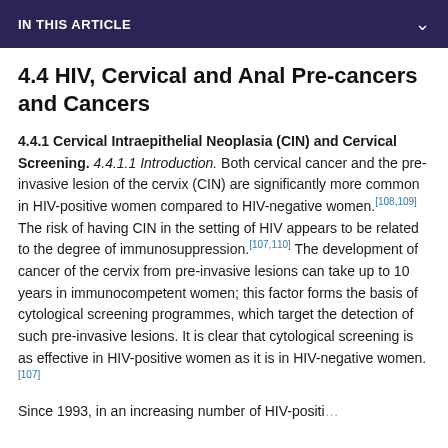IN THIS ARTICLE
4.4 HIV, Cervical and Anal Pre-cancers and Cancers
4.4.1 Cervical Intraepithelial Neoplasia (CIN) and Cervical Screening. 4.4.1.1 Introduction. Both cervical cancer and the pre-invasive lesion of the cervix (CIN) are significantly more common in HIV-positive women compared to HIV-negative women.[108,109] The risk of having CIN in the setting of HIV appears to be related to the degree of immunosuppression.[107,110] The development of cancer of the cervix from pre-invasive lesions can take up to 10 years in immunocompetent women; this factor forms the basis of cytological screening programmes, which target the detection of such pre-invasive lesions. It is clear that cytological screening is as effective in HIV-positive women as it is in HIV-negative women.[107]
Since 1993, in an increasing number of HIV-positive...